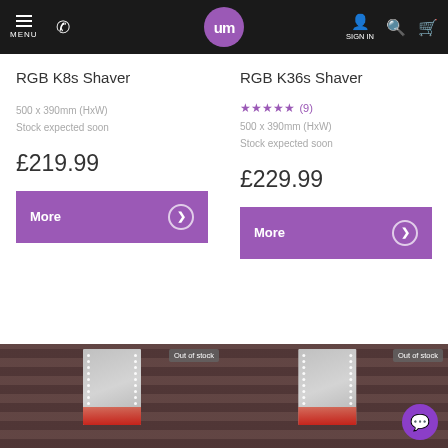MENU | phone icon | um logo | SIGN IN | search | cart
RGB K8s Shaver
500 x 390mm (HxW)
Stock expected soon
£219.99
More
RGB K36s Shaver
★★★★★ (9)
500 x 390mm (HxW)
Stock expected soon
£229.99
More
[Figure (photo): Illuminated bathroom mirror with RGB lighting, shown mounted on brick wall, 'Out of stock' badge visible]
[Figure (photo): Illuminated bathroom mirror with RGB lighting, shown mounted on brick wall, 'Out of stock' badge visible]